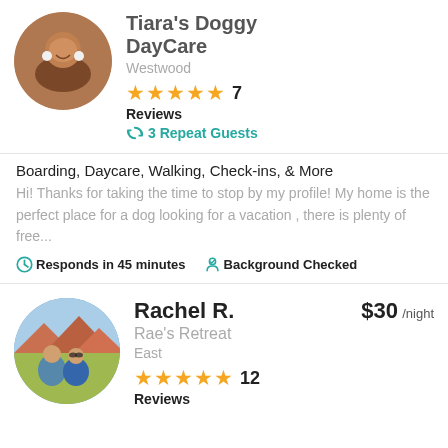Tiara's Doggy DayCare
Westwood
★★★★★ 7 Reviews
3 Repeat Guests
Boarding, Daycare, Walking, Check-ins, & More
Hi! Thanks for taking the time to stop by my profile! My home is the perfect place for a dog looking for a vacation , there is plenty of free...
Responds in 45 minutes   Background Checked
Rachel R. $30 /night
Rae's Retreat
East
★★★★★ 12 Reviews